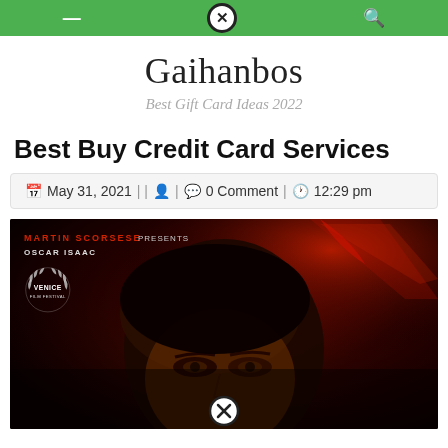Gaihanbos navigation bar with close button
Gaihanbos
Best Gift Card Ideas 2022
Best Buy Credit Card Services
May 31, 2021 || [user icon] | [comment icon] 0 Comment | [clock icon] 12:29 pm
[Figure (photo): Movie poster: Martin Scorsese presents Oscar Isaac, Venice Film Festival laurel. Dark red cinematic poster with man's face in shadow against deep red background. Close button overlay at bottom center.]